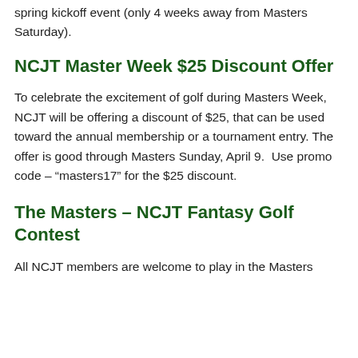spring kickoff event (only 4 weeks away from Masters Saturday).
NCJT Master Week $25 Discount Offer
To celebrate the excitement of golf during Masters Week, NCJT will be offering a discount of $25, that can be used toward the annual membership or a tournament entry. The offer is good through Masters Sunday, April 9.  Use promo code – “masters17” for the $25 discount.
The Masters – NCJT Fantasy Golf
Contest
All NCJT members are welcome to play in the Masters